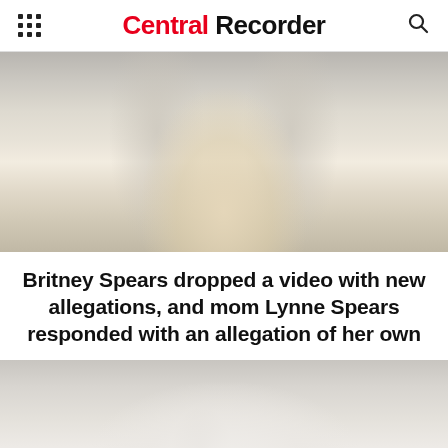Central Recorder
[Figure (photo): Photo of a woman with long blonde hair wearing a sparkly/beaded white dress, cropped to show torso and hair]
Britney Spears dropped a video with new allegations, and mom Lynne Spears responded with an allegation of her own
[Figure (photo): Partially visible photo below the headline, showing a blurred/light background scene]